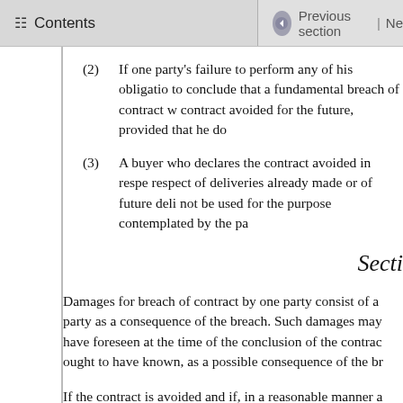Contents | Previous section | Ne
(2) If one party's failure to perform any of his obligatio to conclude that a fundamental breach of contract w contract avoided for the future, provided that he do
(3) A buyer who declares the contract avoided in respe respect of deliveries already made or of future deli not be used for the purpose contemplated by the pa
Secti
Damages for breach of contract by one party consist of a party as a consequence of the breach. Such damages may have foreseen at the time of the conclusion of the contrac ought to have known, as a possible consequence of the br
If the contract is avoided and if, in a reasonable manner a goods in replacement or the seller has resold the goods, th contract price and the price in the substitute transaction as